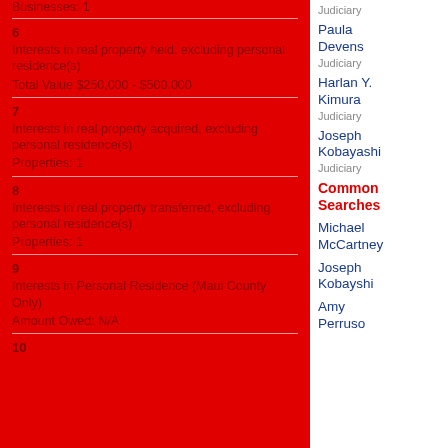Businesses: 1
6
Interests in real property held, excluding personal residence(s)
Total Value  $250,000 - $500,000
7
Interests in real property acquired, excluding personal residence(s)
Properties: 1
8
Interests in real property transferred, excluding personal residence(s)
Properties: 1
9
Interests in Personal Residence (Maui County Only)
Amount Owed: N/A
10
Judiciary
Paula Devens
Judiciary
Harlan Y. Kimura
Judiciary
Joseph Kobayashi
Judiciary
Common Searches
Michael McCartney
Joseph Kobayshi
Amy Perruso